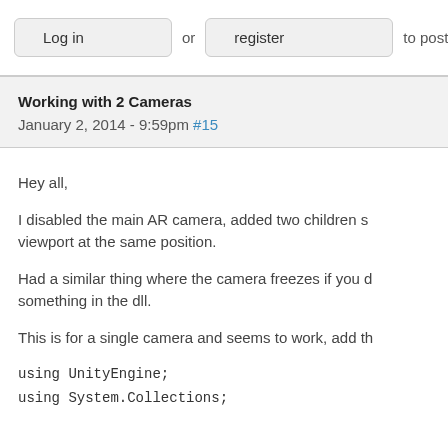Log in or register to post comm
Working with 2 Cameras
January 2, 2014 - 9:59pm #15
Hey all,
I disabled the main AR camera, added two children s viewport at the same position.
Had a similar thing where the camera freezes if you d something in the dll.
This is for a single camera and seems to work, add th
using UnityEngine;
using System.Collections;